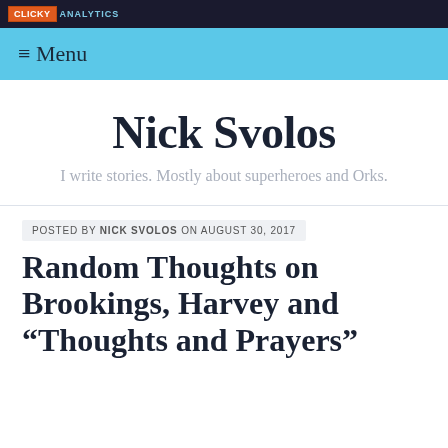CLICKY ANALYTICS
≡ Menu
Nick Svolos
I write stories. Mostly about superheroes and Orks.
POSTED BY NICK SVOLOS ON AUGUST 30, 2017
Random Thoughts on Brookings, Harvey and “Thoughts and Prayers”